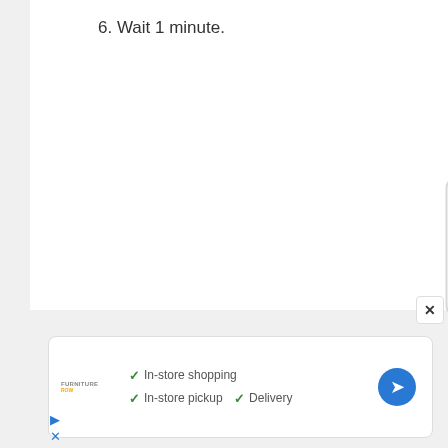6. Wait 1 minute.
[Figure (other): Ad placeholder box with rounded corners showing 'ad' text in light gray]
[Figure (other): Close button with X in top right corner of main card]
[Figure (other): Ad banner for a furniture store showing checkmarks for In-store shopping, In-store pickup, and Delivery with a blue navigation arrow icon]